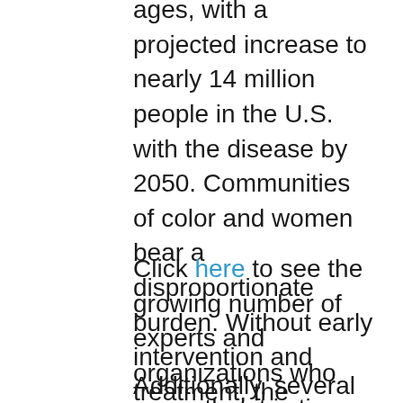ages, with a projected increase to nearly 14 million people in the U.S. with the disease by 2050. Communities of color and women bear a disproportionate burden. Without early intervention and treatment, the cumulative care costs are projected to exceed $20 trillion over the next 30 years.
Click here to see the growing number of experts and organizations who agree that it is time for an accountable plan.
Additionally, several U.S. Senators and House Representatives have agreed...